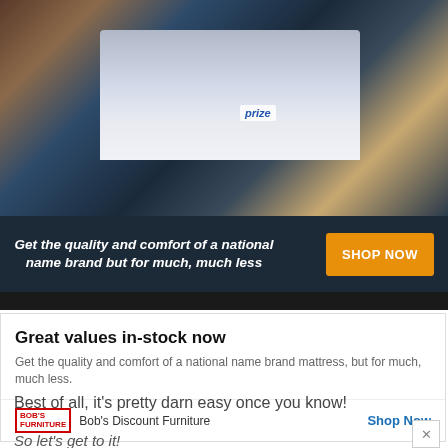[Figure (photo): Bob's Discount Furniture advertisement showing a bedroom with a mattress and dark themed room with tagline 'Get the quality and comfort of a national name brand but for much, much less' and orange SHOP NOW button]
Great values in-stock now
Get the quality and comfort of a national name brand mattress, but for much, much less.
Bob's Discount Furniture  Shop Now
Best of all, it's pretty darn easy once you know!
So let's get to it!
[Figure (photo): Ford Summer Supercharged advertisement banner with LEARN MORE button]